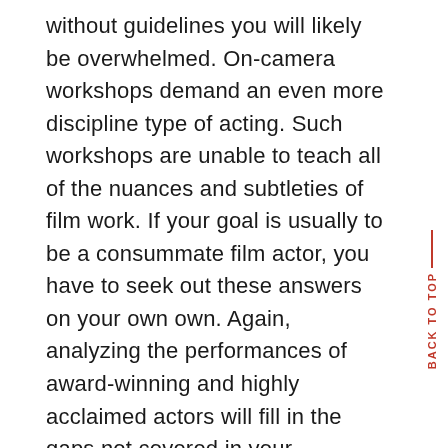without guidelines you will likely be overwhelmed. On-camera workshops demand an even more discipline type of acting. Such workshops are unable to teach all of the nuances and subtleties of film work. If your goal is usually to be a consummate film actor, you have to seek out these answers on your own own. Again, analyzing the performances of award-winning and highly acclaimed actors will fill in the gaps not covered in your workshops. These videos can be found through companies such as for example Netflix and Blockbusters beneath the heading of Award Winning Movies and Actors. The resources mentioned earlier will also aid in improving and perfecting your skills in this area.